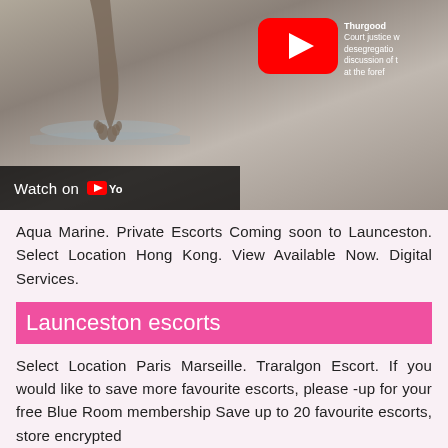[Figure (screenshot): A YouTube video thumbnail showing a black-and-white photo of feet near water, with a red YouTube play button overlay, a 'Watch on YouTube' bar at the bottom left, and a partially visible sidebar with text mentioning 'Thurgood' and 'Court justice', 'desegregation', 'discussion of', 'at the forel']
Aqua Marine. Private Escorts Coming soon to Launceston. Select Location Hong Kong. View Available Now. Digital Services.
Launceston escorts
Select Location Paris Marseille. Traralgon Escort. If you would like to save more favourite escorts, please -up for your free Blue Room membership Save up to 20 favourite escorts, store encrypted